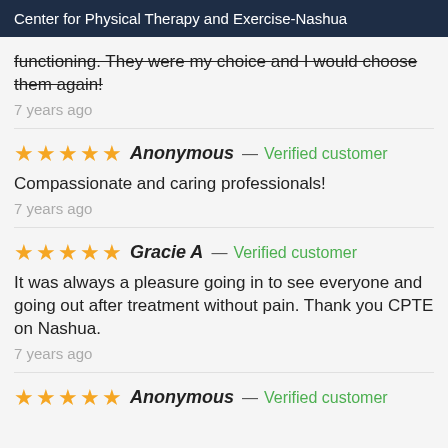Center for Physical Therapy and Exercise-Nashua
functioning. They were my choice and I would choose them again!
7 years ago
★★★★★ Anonymous — Verified customer
Compassionate and caring professionals!
7 years ago
★★★★★ Gracie A — Verified customer
It was always a pleasure going in to see everyone and going out after treatment without pain. Thank you CPTE on Nashua.
7 years ago
★★★★★ Anonymous — Verified customer